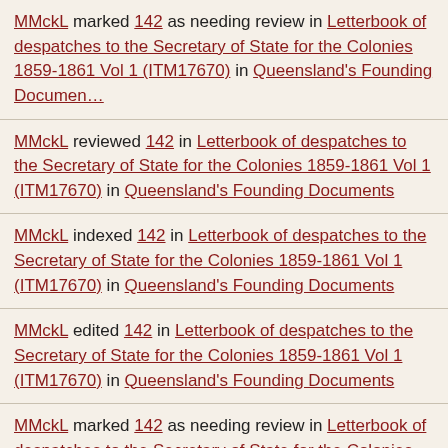MMckL marked 142 as needing review in Letterbook of despatches to the Secretary of State for the Colonies 1859-1861 Vol 1 (ITM17670) in Queensland's Founding Documents
MMckL reviewed 142 in Letterbook of despatches to the Secretary of State for the Colonies 1859-1861 Vol 1 (ITM17670) in Queensland's Founding Documents
MMckL indexed 142 in Letterbook of despatches to the Secretary of State for the Colonies 1859-1861 Vol 1 (ITM17670) in Queensland's Founding Documents
MMckL edited 142 in Letterbook of despatches to the Secretary of State for the Colonies 1859-1861 Vol 1 (ITM17670) in Queensland's Founding Documents
MMckL marked 142 as needing review in Letterbook of despatches to the Secretary of State for the Colonies 1859-1861 Vol 1 (ITM17670) in Queensland's Founding Documents
MMckL reviewed 142 in Letterbook of despatches to the Secretary of State for the Colonies 1859-1861 Vol 1 (ITM17670) in Queensland's Founding Documents